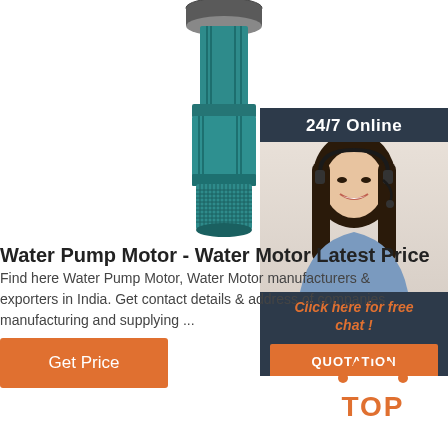[Figure (photo): A teal/green submersible water pump motor, vertical cylindrical shape with ribbed/grated bottom section, shown from the middle downward, white background.]
[Figure (infographic): Advertisement banner: dark navy background with '24/7 Online' text at top, photo of smiling woman with headset, orange 'Click here for free chat!' text, and orange 'QUOTATION' button at bottom.]
Water Pump Motor - Water Motor Latest Price
Find here Water Pump Motor, Water Motor manufacturers & exporters in India. Get contact details & address of companies manufacturing and supplying ...
[Figure (other): Orange 'Get Price' button]
[Figure (logo): Orange 'TOP' logo with dot pattern forming an upward arrow/triangle shape above the word TOP in bold orange letters.]